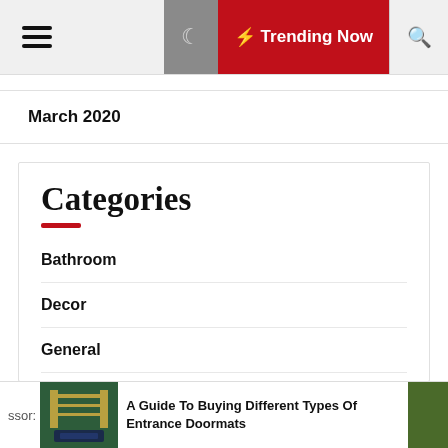≡  ☽  ⚡ Trending Now  🔍
March 2020
Categories
Bathroom
Decor
General
Home improvement
ssor:  A Guide To Buying Different Types Of Entrance Doormats